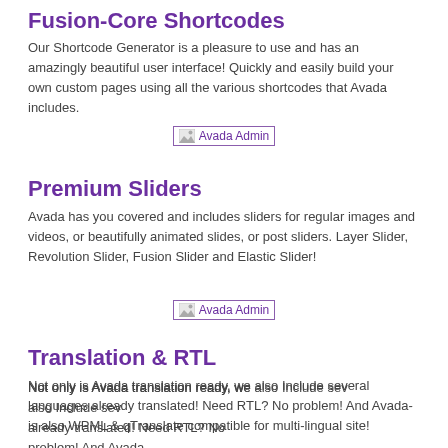Fusion-Core Shortcodes
Our Shortcode Generator is a pleasure to use and has an amazingly beautiful user interface! Quickly and easily build your own custom pages using all the various shortcodes that Avada includes.
[Figure (screenshot): Avada Admin placeholder image]
Premium Sliders
Avada has you covered and includes sliders for regular images and videos, or beautifully animated slides, or post sliders. Layer Slider, Revolution Slider, Fusion Slider and Elastic Slider!
[Figure (screenshot): Avada Admin placeholder image]
Translation & RTL
Not only is Avada translation ready, we also Include several languages already translated! Need RTL? No problem! And Avada is also WPML & qTranslate compatible for multi-lingual site!